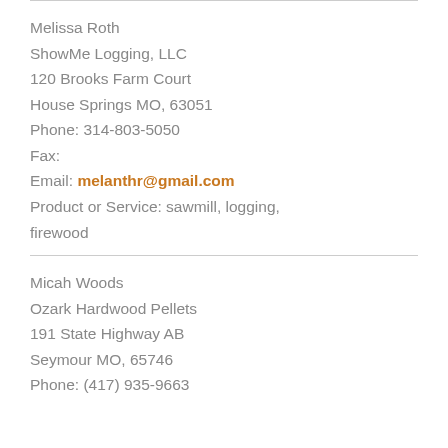Melissa Roth
ShowMe Logging, LLC
120 Brooks Farm Court
House Springs MO, 63051
Phone: 314-803-5050
Fax:
Email: melanthr@gmail.com
Product or Service: sawmill, logging, firewood
Micah Woods
Ozark Hardwood Pellets
191 State Highway AB
Seymour MO, 65746
Phone: (417) 935-9663